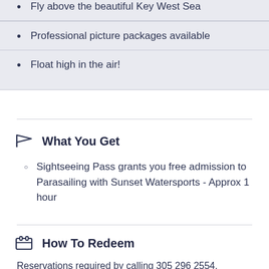Fly above the beautiful Key West Sea
Professional picture packages available
Float high in the air!
What You Get
Sightseeing Pass grants you free admission to Parasailing with Sunset Watersports - Approx 1 hour
How To Redeem
Reservations required by calling 305 296 2554.
Show your Pass on the day of your sail at The Sunset Water